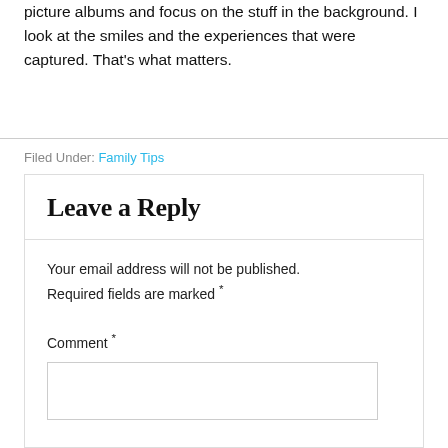picture albums and focus on the stuff in the background. I look at the smiles and the experiences that were captured. That's what matters.
Filed Under: Family Tips
Leave a Reply
Your email address will not be published. Required fields are marked *
Comment *